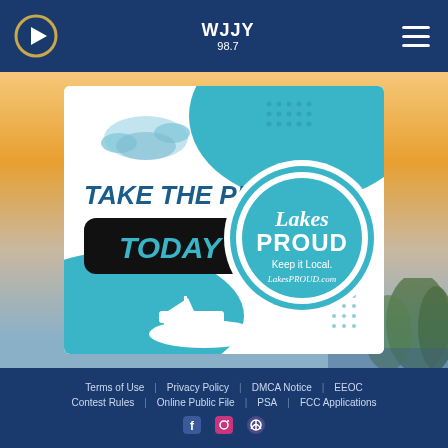WJJY 98.7 radio station header with play button and hamburger menu
[Figure (illustration): Lakes Proud promotional image: 'TAKE THE PLEDGE TODAY' with Lakes Proud logo circle showing 'Keep it Local. LakesPROUD.com', teal background with boat and fish decorations]
Terms of Use | Privacy Policy | DMCA Notice | EEOC | Contest Rules | Online Public File | PSA | FCC Applications | Social media icons